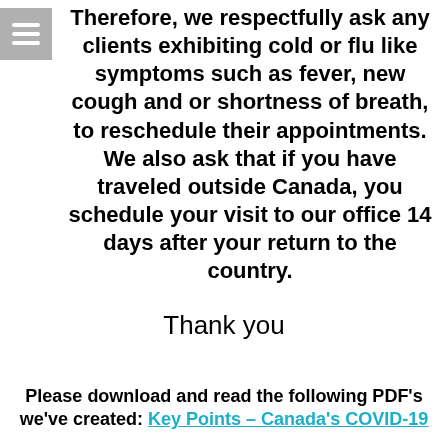Therefore, we respectfully ask any clients exhibiting cold or flu like symptoms such as fever, new cough and or shortness of breath, to reschedule their appointments.  We also ask that if you have traveled outside Canada, you schedule your visit to our office 14 days after your return to the country.
Thank you
Please download and read the following PDF's we've created: Key Points – Canada's COVID-19